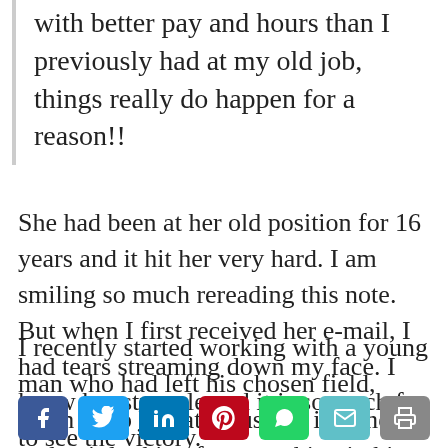with better pay and hours than I previously had at my old job, things really do happen for a reason!!
She had been at her old position for 16 years and it hit her very hard. I am smiling so much rereading this note. But when I first received her e-mail, I had tears streaming down my face. I know her struggle and it is so much fun to see the victory.
I recently started working with a young man who had left his chosen field, taken a job he hated just for income, and quit looking for something in his field. This is what he said
[Figure (other): Social share buttons: Facebook, Twitter, LinkedIn, Pinterest, WhatsApp/Messenger, Email, Print]